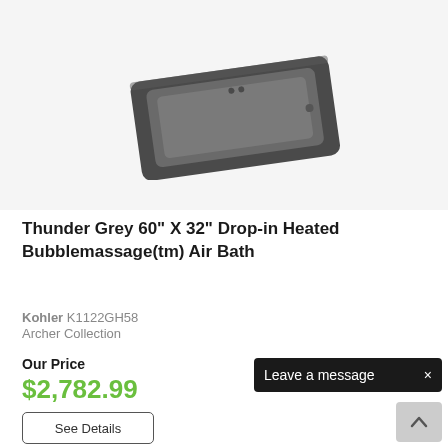[Figure (photo): Overhead perspective photo of a Thunder Grey rectangular drop-in bathtub, shown in dark charcoal/grey color against a light grey background.]
Thunder Grey 60" X 32" Drop-in Heated Bubblemassage(tm) Air Bath
Kohler K1122GH58
Archer Collection
Our Price
$2,782.99
See Details
Leave a message ×